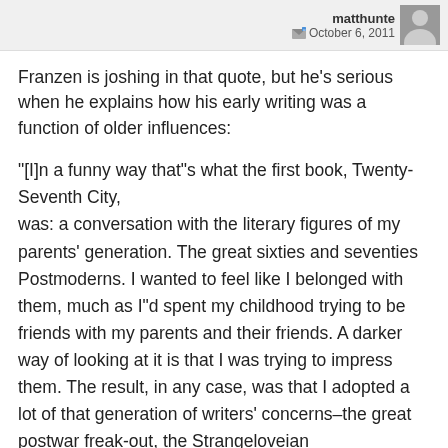matthunte  October 6, 2011
Franzen is joshing in that quote, but he's serious when he explains how his early writing was a function of older influences:
“[I]n a funny way that”s what the first book, Twenty-Seventh City,
was: a conversation with the literary figures of my parents’ generation. The great sixties and seventies Postmoderns. I wanted to feel like I belonged with them, much as I”d spent my childhood trying to be friends with my parents and their friends. A darker way of looking at it is that I was trying to impress them. The result, in any case, was that I adopted a lot of that generation of writers’ concerns–the great postwar freak-out, the Strangeloveian inconceivabilities, the sick society in need of radical critique. I was attracted